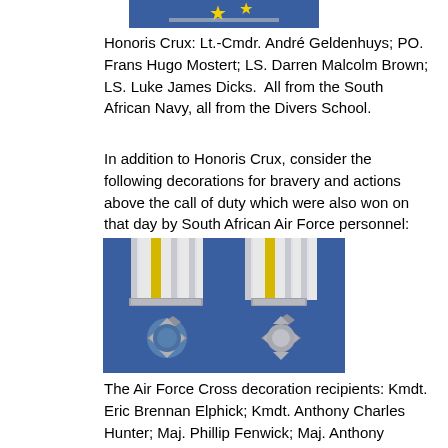[Figure (photo): Partial image of medals/decorations on blue background with star visible at top of page]
Honoris Crux: Lt.-Cmdr. André Geldenhuys; PO. Frans Hugo Mostert; LS. Darren Malcolm Brown; LS. Luke James Dicks. All from the South African Navy, all from the Divers School.
In addition to Honoris Crux, consider the following decorations for bravery and actions above the call of duty which were also won on that day by South African Air Force personnel:
[Figure (photo): Two Air Force Cross medals displayed on blue background, showing silver cross-shaped medals with white and yellow striped ribbons]
The Air Force Cross decoration recipients: Kmdt. Eric Brennan Elphick; Kmdt. Anthony Charles Hunter; Maj. Phillip Fenwick; Maj. Anthony Wright Johnson; Maj. Martin Johannes Hugo Louw; Maj. Hermanus Frederik Steyn; Maj. André Stroebel;